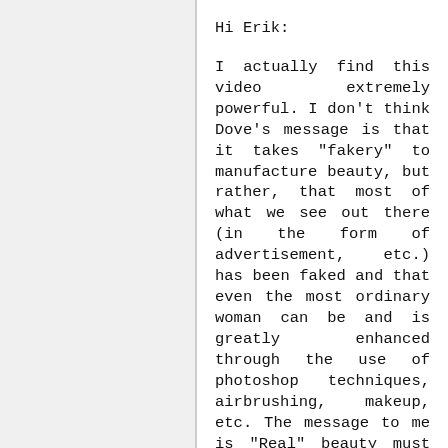Hi Erik:
I actually find this video extremely powerful. I don't think Dove's message is that it takes "fakery" to manufacture beauty, but rather, that most of what we see out there (in the form of advertisement, etc.) has been faked and that even the most ordinary woman can be and is greatly enhanced through the use of photoshop techniques, airbrushing, makeup, etc. The message to me is "Real" beauty must start